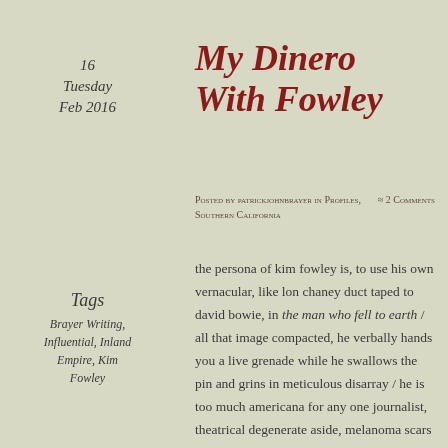16
Tuesday
Feb 2016
My Dinero With Fowley
Posted by patrickjohnbrayer in Profiles, Southern California   ≈ 2 Comments
Tags
Brayer Writing, Influential, Inland Empire, Kim Fowley
the persona of kim fowley is, to use his own vernacular, like lon chaney duct taped to david bowie, in the man who fell to earth / all that image compacted, he verbally hands you a live grenade while he swallows the pin and grins in meticulous disarray / he is too much americana for any one journalist, theatrical degenerate aside, melanoma scars tattoo his forearm, licorice like clark kent glasses, he whittles his roast chicken with a sculptor's hint of royalty, and that is to be our first glimpse at the dropping of the guard into the halflife of a